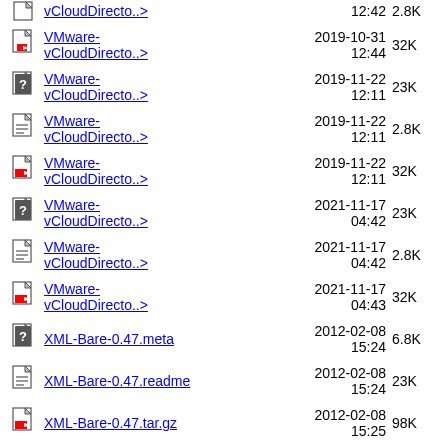vCloudDirecto..> 12:42 2.8K
VMware-vCloudDirecto..> 2019-10-31 12:44 32K
VMware-vCloudDirecto..> 2019-11-22 12:11 23K
VMware-vCloudDirecto..> 2019-11-22 12:11 2.8K
VMware-vCloudDirecto..> 2019-11-22 12:11 32K
VMware-vCloudDirecto..> 2021-11-17 04:42 23K
VMware-vCloudDirecto..> 2021-11-17 04:42 2.8K
VMware-vCloudDirecto..> 2021-11-17 04:43 32K
XML-Bare-0.47.meta 2012-02-08 15:24 6.8K
XML-Bare-0.47.readme 2012-02-08 15:24 23K
XML-Bare-0.47.tar.gz 2012-02-08 15:25 98K